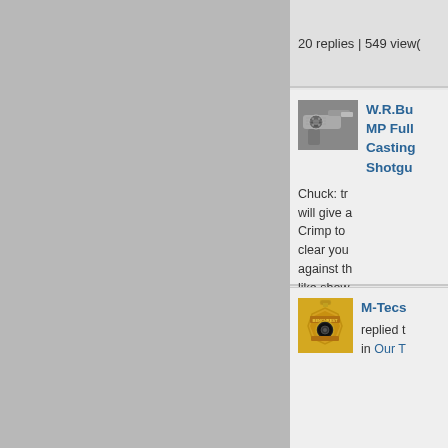20 replies | 549 view(
[Figure (photo): Thumbnail image of an engraved revolver handgun]
W.R.Bu MP Full Casting Shotgu
Chuck: tr will give a Crimp to clear you against th like show doesn't...
▸see mor
38 replies | 1976 view
[Figure (photo): Thumbnail image of a gold shooting/law enforcement badge]
M-Tecs
replied t in Our T